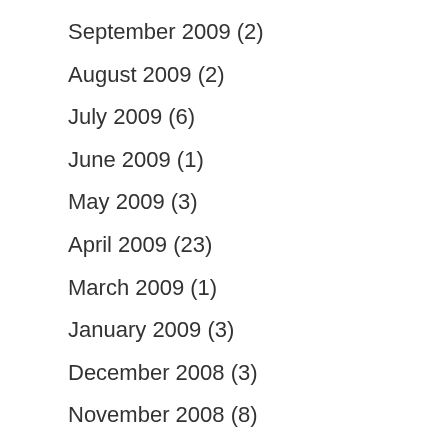September 2009 (2)
August 2009 (2)
July 2009 (6)
June 2009 (1)
May 2009 (3)
April 2009 (23)
March 2009 (1)
January 2009 (3)
December 2008 (3)
November 2008 (8)
October 2008 (6)